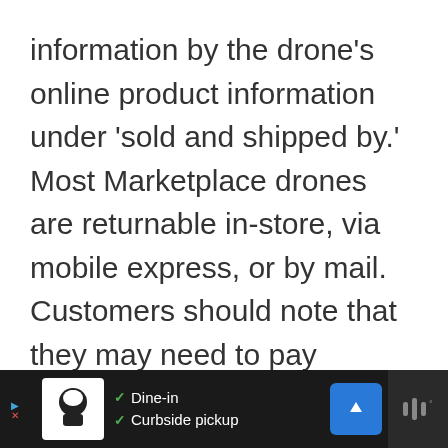information by the drone's online product information under 'sold and shipped by.' Most Marketplace drones are returnable in-store, via mobile express, or by mail. Customers should note that they may need to pay shipping fees for returns.
To learn more, also see our guides on returning cameras, appliances, TVs, and headphones to Walmart.
[Figure (other): Advertisement bar at bottom of page showing a restaurant ad with logo, dine-in and curbside pickup options, navigation icon, and audio icon on dark background.]